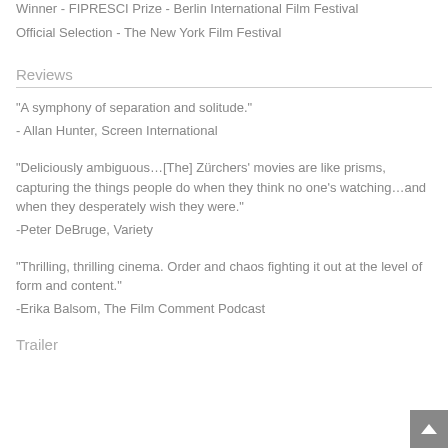Winner - FIPRESCI Prize - Berlin International Film Festival
Official Selection - The New York Film Festival
Reviews
"A symphony of separation and solitude."
- Allan Hunter, Screen International
"Deliciously ambiguous…[The] Zürchers' movies are like prisms, capturing the things people do when they think no one's watching…and when they desperately wish they were."
-Peter DeBruge, Variety
"Thrilling, thrilling cinema. Order and chaos fighting it out at the level of form and content."
-Erika Balsom, The Film Comment Podcast
Trailer